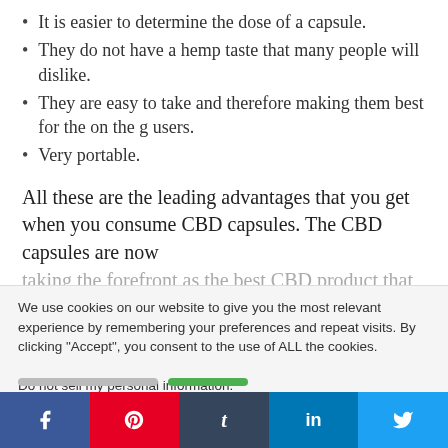It is easier to determine the dose of a capsule.
They do not have a hemp taste that many people will dislike.
They are easy to take and therefore making them best for the on the g users.
Very portable.
All these are the leading advantages that you get when you consume CBD capsules. The CBD capsules are now taking the forefront as the best CBD product that needs...
We use cookies on our website to give you the most relevant experience by remembering your preferences and repeat visits. By clicking “Accept”, you consent to the use of ALL the cookies.
Do not sell my personal information.